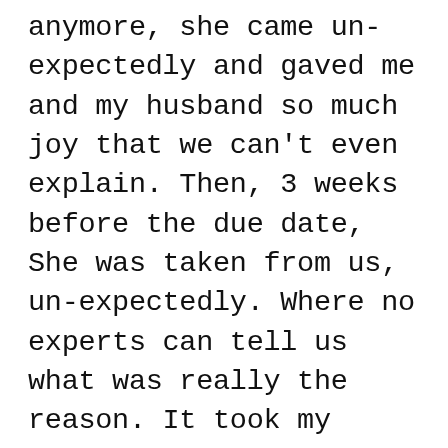anymore, she came un-expectedly and gaved me and my husband so much joy that we can't even explain. Then, 3 weeks before the due date, She was taken from us, un-expectedly. Where no experts can tell us what was really the reason. It took my life, and I was in denial. I couldn't accept that she was gone. I tried to let her go and moved on as what others told me, but it made me un loving, always mad, and made the feeling of grievance worse. Til I realized that something so beautiful and perfect cannot be acquired easily. I would never let her go, instead I will forever keep her in my heart and use my love for her to fuel me to create my own happiness. I will use my grief to try to help others cope up their own